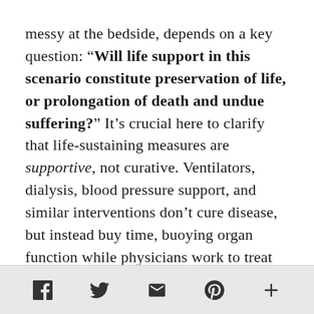messy at the bedside, depends on a key question: “Will life support in this scenario constitute preservation of life, or prolongation of death and undue suffering?” It’s crucial here to clarify that life-sustaining measures are supportive, not curative. Ventilators, dialysis, blood pressure support, and similar interventions don’t cure disease, but instead buy time, buoying organ function while physicians work to treat the underlying illness (with antibiotics for pneumonia,
Social share icons: Facebook, Twitter, Email, Pinterest, More